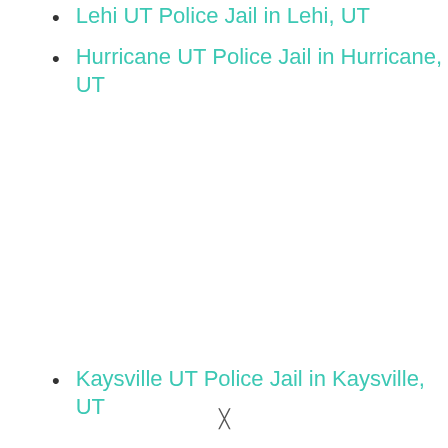Lehi UT Police Jail in Lehi, UT
Hurricane UT Police Jail in Hurricane, UT
Kaysville UT Police Jail in Kaysville, UT